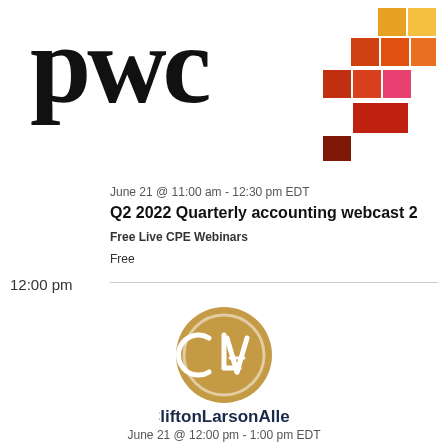[Figure (logo): PwC logo with colored block mosaic pattern in red, orange, yellow, and pink on the right side]
June 21 @ 11:00 am - 12:30 pm EDT
Q2 2022 Quarterly accounting webcast 2
Free Live CPE Webinars
Free
12:00 pm
[Figure (logo): CliftonLarsonAllen logo with gold circular CLA emblem above the text CliftonLarsonAllen in dark navy blue]
June 21 @ 12:00 pm - 1:00 pm EDT